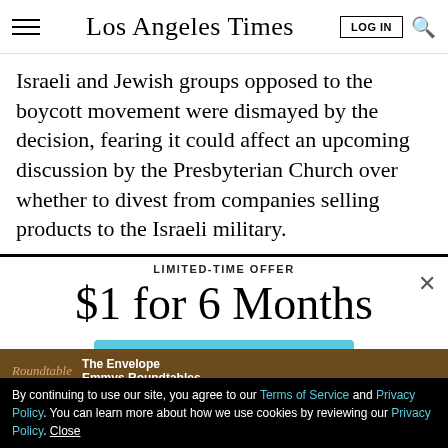Los Angeles Times
Israeli and Jewish groups opposed to the boycott movement were dismayed by the decision, fearing it could affect an upcoming discussion by the Presbyterian Church over whether to divest from companies selling products to the Israeli military.
LIMITED-TIME OFFER
$1 for 6 Months
SUBSCRIBE NOW
By continuing to use our site, you agree to our Terms of Service and Privacy Policy. You can learn more about how we use cookies by reviewing our Privacy Policy. Close
The Envelope Emmys Roundtables